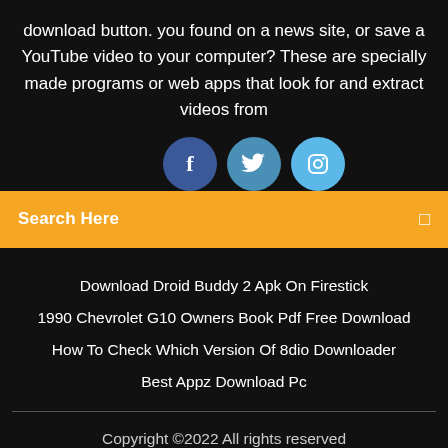download button. you found on a news site, or save a YouTube video to your computer? These are specially made programs or web apps that look for and extract videos from
[Figure (other): Three social media icon circles: Facebook (dark blue), Twitter (medium blue), Instagram (light blue), partially overlapped by search bar]
Search Here
Download Droid Buddy 2 Apk On Firestick
1990 Chevrolet G10 Owners Book Pdf Free Download
How To Check Which Version Of 8dio Downloader
Best Appz Download Pc
Copyright ©2022 All rights reserved